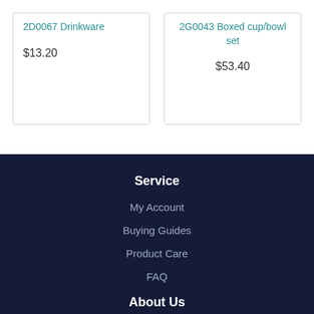2D0067 Drinkware
$13.20
2G0043 Boxed cup/bowl set
$53.40
Service
My Account
Buying Guides
Product Care
FAQ
About Us